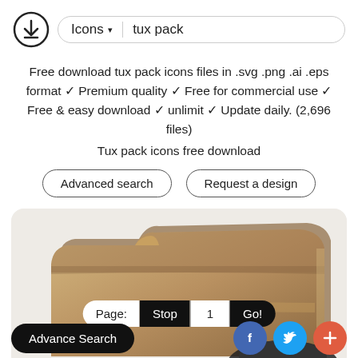Icons ▾  tux pack
Free download tux pack icons files in .svg .png .ai .eps format ✓ Premium quality ✓ Free for commercial use ✓ Free & easy download ✓ unlimit ✓ Update daily. (2,696 files)
Tux pack icons free download
Advanced search   Request a design
[Figure (illustration): Cropped close-up of a tux pack folder icon illustration in brown/tan tones with stylized folder shape]
Page: Stop 1 Go!
Advance Search